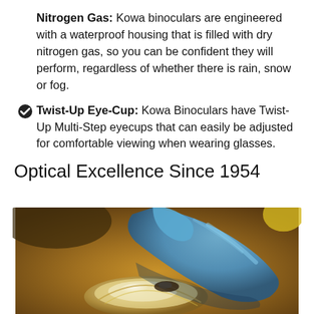Nitrogen Gas: Kowa binoculars are engineered with a waterproof housing that is filled with dry nitrogen gas, so you can be confident they will perform, regardless of whether there is rain, snow or fog.
Twist-Up Eye-Cup: Kowa Binoculars have Twist-Up Multi-Step eyecups that can easily be adjusted for comfortable viewing when wearing glasses.
Optical Excellence Since 1954
[Figure (photo): Hands wearing blue rubber gloves handling and assembling what appears to be a precision optical lens element, with warm golden-brown blurred background.]